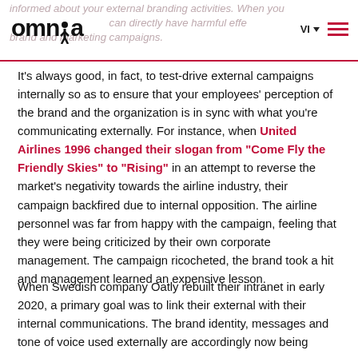informed about your external branding activities. When you can directly have harmful effects on your brand and marketing campaigns.
[Figure (logo): Omnia logo with red dot and person icon]
It's always good, in fact, to test-drive external campaigns internally so as to ensure that your employees' perception of the brand and the organization is in sync with what you're communicating externally. For instance, when United Airlines 1996 changed their slogan from “Come Fly the Friendly Skies” to “Rising” in an attempt to reverse the market's negativity towards the airline industry, their campaign backfired due to internal opposition. The airline personnel was far from happy with the campaign, feeling that they were being criticized by their own corporate management. The campaign ricocheted, the brand took a hit and management learned an expensive lesson.
When Swedish company Oatly rebuilt their intranet in early 2020, a primary goal was to link their external with their internal communications. The brand identity, messages and tone of voice used externally are accordingly now being